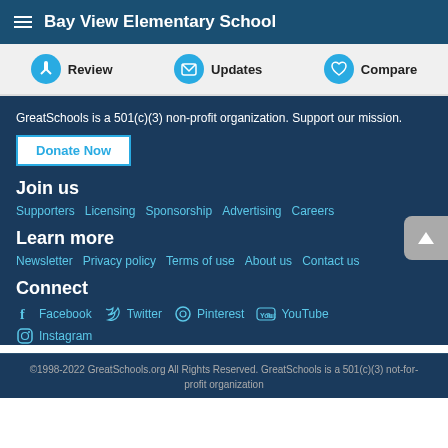Bay View Elementary School
Review   Updates   Compare
GreatSchools is a 501(c)(3) non-profit organization. Support our mission.
Donate Now
Join us
Supporters   Licensing   Sponsorship   Advertising   Careers
Learn more
Newsletter   Privacy policy   Terms of use   About us   Contact us
Connect
Facebook   Twitter   Pinterest   YouTube   Instagram
©1998-2022 GreatSchools.org All Rights Reserved. GreatSchools is a 501(c)(3) not-for-profit organization